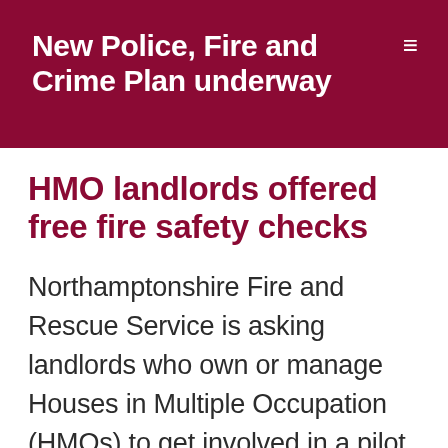New Police, Fire and Crime Plan underway
HMO landlords offered free fire safety checks
Northamptonshire Fire and Rescue Service is asking landlords who own or manage Houses in Multiple Occupation (HMOs) to get involved in a pilot scheme that will help improve safety in the private rented sector – and extend the